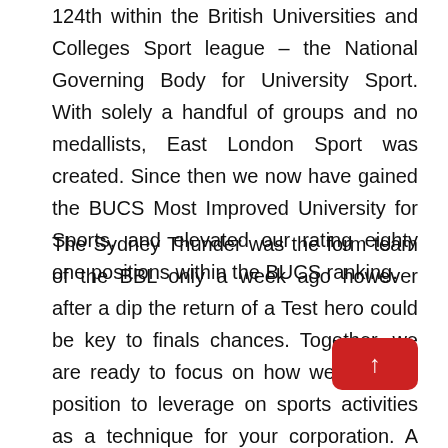124th within the British Universities and Colleges Sport league – the National Governing Body for University Sport. With solely a handful of groups and no medallists, East London Sport was created. Since then we now have gained the BUCS Most Improved University for Sports, and elevated our rating eighty one positions within the BUCS ranking.
The Sydney Thunder was the form team of the BBL only a week ago however after a dip the return of a Test hero could be key to finals chances. Together, we are ready to focus on how we are in a position to leverage on sports activities as a technique for your corporation. A latest call for articles and report advocates for younger individuals to play a extra decisive position in sport development programmes and policies. A suite of online learning modules for athletes, parents, coaches and